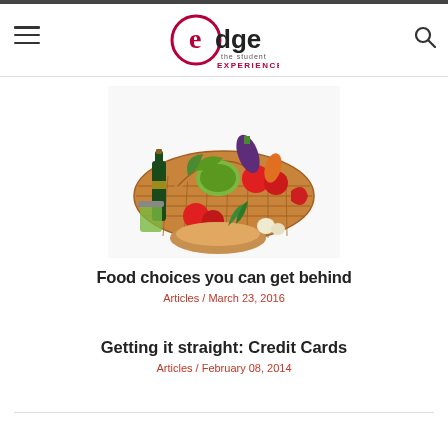edge the student EXPERIENCE
[Figure (photo): Basket of fresh vegetables and groceries including tomatoes, cabbage, eggplant, carrots, wine bottle, bread, and pickles on a white background]
Food choices you can get behind
Articles / March 23, 2016
Getting it straight: Credit Cards
Articles / February 08, 2014